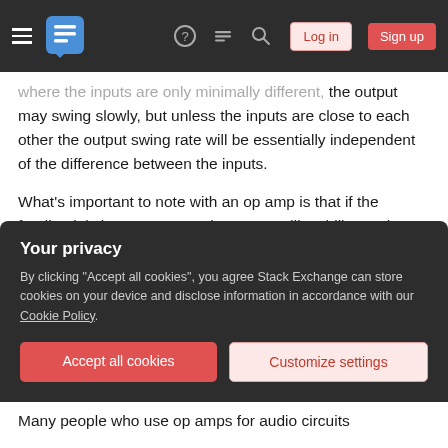Stack Exchange navigation bar with hamburger menu, logo, help, chat, search icons, Log in and Sign up buttons
where the inputs are only minimally different, the output may swing slowly, but unless the inputs are close to each other the output swing rate will be essentially independent of the difference between the inputs.
What's important to note with an op amp is that if the feedback is instantaneous, the output will stabilize at the positive rail, bottom rail, or a point which causes the inputs to be at most trivially different. The only behavioral aspects that will be affected by op amp characteristics will be (1) what
Your privacy
By clicking "Accept all cookies", you agree Stack Exchange can store cookies on your device and disclose information in accordance with our Cookie Policy.
Many people who use op amps for audio circuits